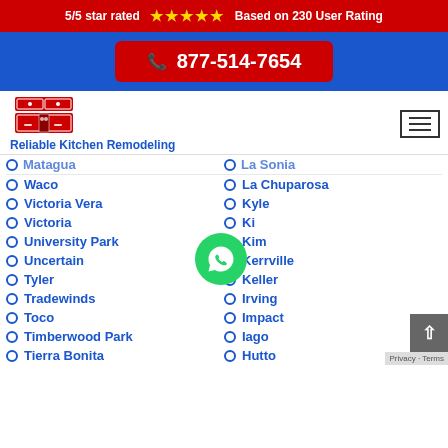5/5 star rated ★★★★★ Based on 230 User Rating
877-514-7654
[Figure (logo): Reliable Kitchen Remodeling logo with illustrated kitchen cabinet graphic in red and blue]
Waco
Victoria Vera
Victoria
University Park
Uncertain
Tyler
Tradewinds
Toco
Timberwood Park
Tierra Bonita
La Chuparosa
Kyle
Ki[ingsville]
Kim[ble]
Kerrville
Keller
Irving
Impact
Iago
Hutto